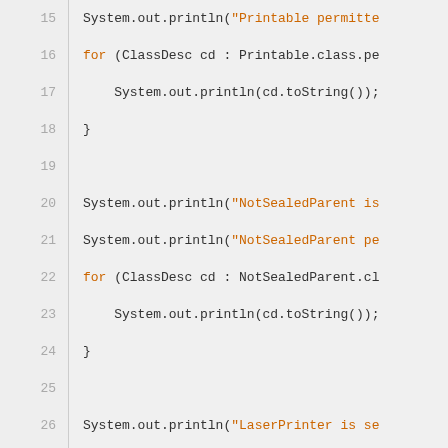[Figure (screenshot): Code snippet showing Java source code lines 15-32 with line numbers on the left and code on the right. The code contains System.out.println statements and for loops referencing Printable, NotSealedParent, LaserPrinter, and ThermalPrinter classes. Keywords 'for' are highlighted in orange and string literals beginning with quotes are in orange.]